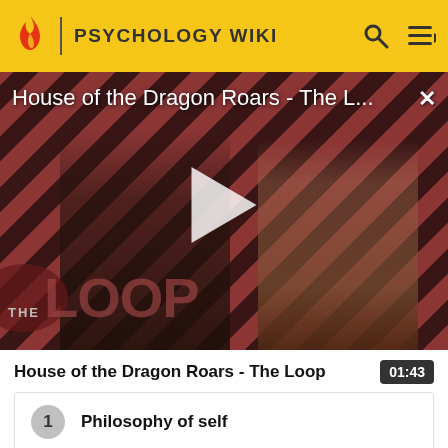PSYCHOLOGY WIKI
[Figure (screenshot): Video thumbnail for 'House of the Dragon Roars - The L...' showing two characters against a red and black diagonal stripe background with THE LOOP logo and a play button overlay]
House of the Dragon Roars - The Loop  01:43
1  Philosophy of self